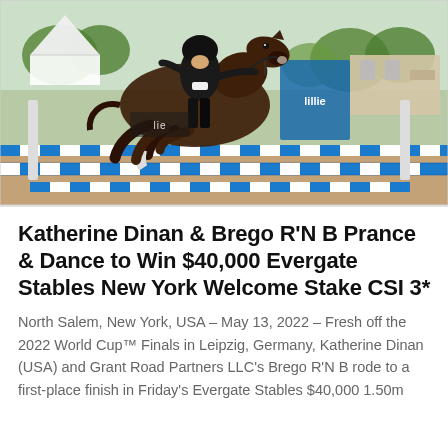[Figure (photo): Equestrian show jumping photo: rider in black outfit on a dark bay horse leaping over a blue-and-white striped jump rail. Sponsor banners reading 'lillie' visible in background. Outdoor grass arena with trees and a building behind.]
Katherine Dinan & Brego R'N B Prance & Dance to Win $40,000 Evergate Stables New York Welcome Stake CSI 3*
North Salem, New York, USA – May 13, 2022 – Fresh off the 2022 World Cup™ Finals in Leipzig, Germany, Katherine Dinan (USA) and Grant Road Partners LLC's Brego R'N B rode to a first-place finish in Friday's Evergate Stables $40,000 1.50m